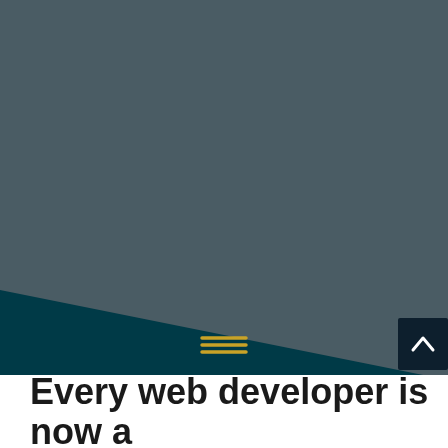[Figure (illustration): Two overlapping diagonal shapes: a medium grey-blue triangle in the upper portion and a dark teal/navy triangle in the lower portion, creating a geometric layered background design. A golden hamburger menu icon (three horizontal lines) appears centered around y=345. A dark navy button with a white upward-pointing caret/arrow chevron appears in the bottom-right corner.]
Every web developer is now a